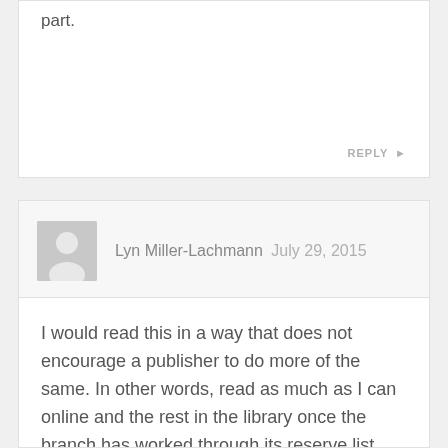part.
REPLY ▶
Lyn Miller-Lachmann  July 29, 2015
I would read this in a way that does not encourage a publisher to do more of the same. In other words, read as much as I can online and the rest in the library once the branch has worked through its reserve list. There are so many other great books to read!